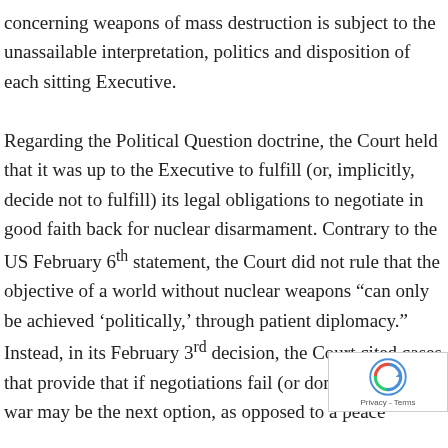concerning weapons of mass destruction is subject to the unassailable interpretation, politics and disposition of each sitting Executive.

Regarding the Political Question doctrine, the Court held that it was up to the Executive to fulfill (or, implicitly, decide not to fulfill) its legal obligations to negotiate in good faith back for nuclear disarmament. Contrary to the US February 6th statement, the Court did not rule that the objective of a world without nuclear weapons “can only be achieved ‘politically,’ through patient diplomacy.” Instead, in its February 3rd decision, the Court cited cases that provide that if negotiations fail (or don’t even then war may be the next option, as opposed to a peaceful judicial
[Figure (other): reCAPTCHA privacy badge with circular arrow logo and 'Privacy - Terms' text]